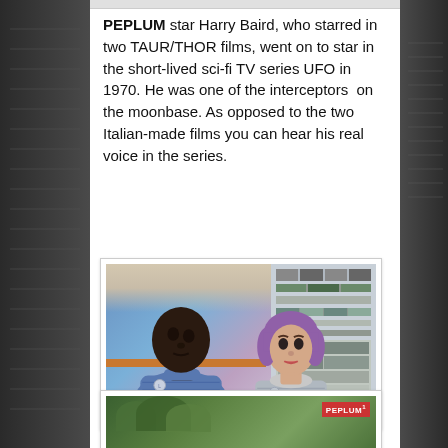PEPLUM star Harry Baird, who starred in two TAUR/THOR films, went on to star in the short-lived sci-fi TV series UFO in 1970. He was one of the interceptors  on the moonbase. As opposed to the two Italian-made films you can hear his real voice in the series.
[Figure (photo): Still from the TV series UFO (1970) showing a Black male actor in a blue ribbed turtleneck uniform looking upward to the left, and a woman with a purple bob wig in a silver metallic uniform looking forward, with control panel equipment in the background.]
[Figure (photo): Partial view of another PEPLUM TV or film still with outdoor/jungle setting, partially visible at the bottom of the page. PEPLUM logo badge visible in top right.]